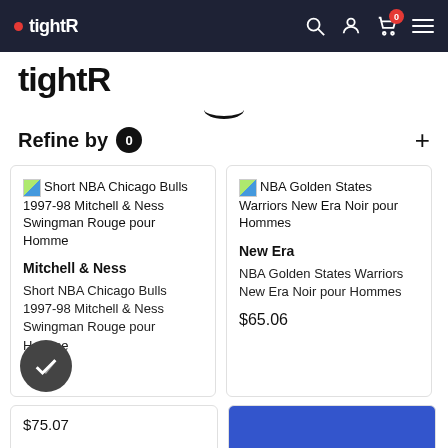tightR
tightR
Refine by 0
Short NBA Chicago Bulls 1997-98 Mitchell & Ness Swingman Rouge pour Homme
Mitchell & Ness
Short NBA Chicago Bulls 1997-98 Mitchell & Ness Swingman Rouge pour Homme
$75.07
NBA Golden States Warriors New Era Noir pour Hommes
New Era
NBA Golden States Warriors New Era Noir pour Hommes
$65.06